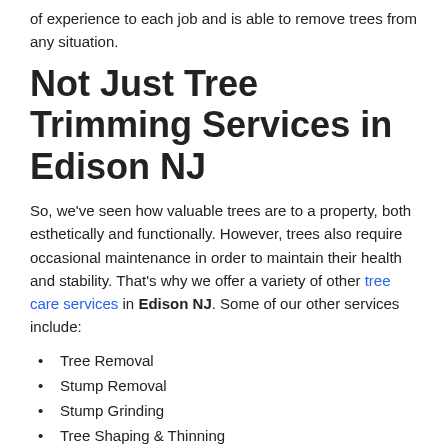of experience to each job and is able to remove trees from any situation.
Not Just Tree Trimming Services in Edison NJ
So, we've seen how valuable trees are to a property, both esthetically and functionally. However, trees also require occasional maintenance in order to maintain their health and stability. That's why we offer a variety of other tree care services in Edison NJ. Some of our other services include:
Tree Removal
Stump Removal
Stump Grinding
Tree Shaping & Thinning
Brush Clearing
Palm Tree Skinning